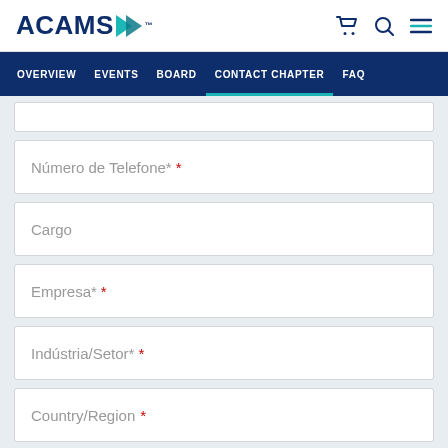ACAMS
OVERVIEW | EVENTS | BOARD | CONTACT CHAPTER | FAQ
Número de Telefone* *
Cargo
Empresa* *
Indústria/Setor* *
Country/Region *